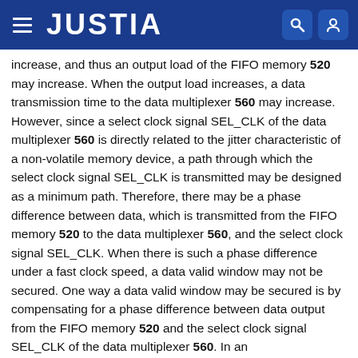JUSTIA
increase, and thus an output load of the FIFO memory 520 may increase. When the output load increases, a data transmission time to the data multiplexer 560 may increase. However, since a select clock signal SEL_CLK of the data multiplexer 560 is directly related to the jitter characteristic of a non-volatile memory device, a path through which the select clock signal SEL_CLK is transmitted may be designed as a minimum path. Therefore, there may be a phase difference between data, which is transmitted from the FIFO memory 520 to the data multiplexer 560, and the select clock signal SEL_CLK. When there is such a phase difference under a fast clock speed, a data valid window may not be secured. One way a data valid window may be secured is by compensating for a phase difference between data output from the FIFO memory 520 and the select clock signal SEL_CLK of the data multiplexer 560. In an